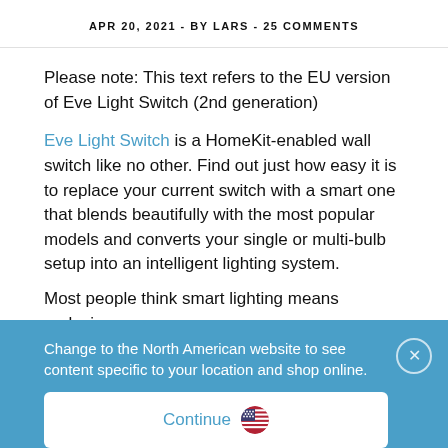APR 20, 2021 - BY LARS - 25 COMMENTS
Please note: This text refers to the EU version of Eve Light Switch (2nd generation)
Eve Light Switch is a HomeKit-enabled wall switch like no other. Find out just how easy it is to replace your current switch with a smart one that blends beautifully with the most popular models and converts your single or multi-bulb setup into an intelligent lighting system.
Most people think smart lighting means replacing
Change to the North American website to see content specific to your location and shop online.
Continue